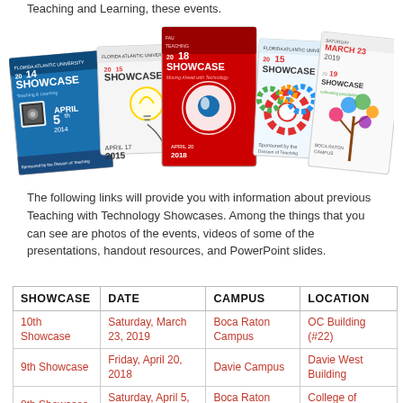Teaching and Learning, these events.
[Figure (photo): Collage of Florida Atlantic University Teaching with Technology Showcase event flyers from various years (2014, 2015, 2018, 2019) showing colorful promotional posters arranged in an overlapping fan layout.]
The following links will provide you with information about previous Teaching with Technology Showcases. Among the things that you can see are photos of the events, videos of some of the presentations, handout resources, and PowerPoint slides.
| SHOWCASE | DATE | CAMPUS | LOCATION |
| --- | --- | --- | --- |
| 10th Showcase | Saturday, March 23, 2019 | Boca Raton Campus | OC Building (#22) |
| 9th Showcase | Friday, April 20, 2018 | Davie Campus | Davie West Building |
| 8th Showcase | Saturday, April 5, 2014 | Boca Raton Campus | College of Business |